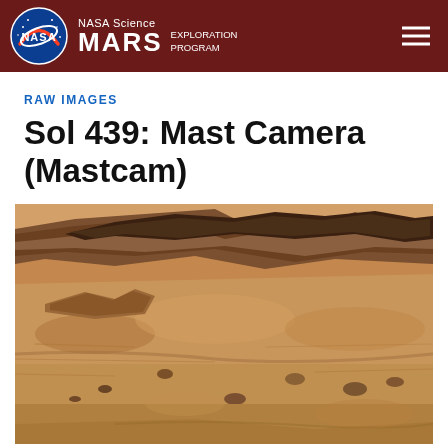NASA Science MARS EXPLORATION PROGRAM
RAW IMAGES
Sol 439: Mast Camera (Mastcam)
[Figure (photo): Raw image from NASA Mars Curiosity rover Mastcam on Sol 439, showing Martian surface with sandy terrain, rocks, and layered rock formations in reddish-brown tones.]